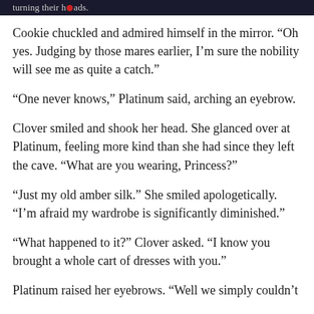turning their heads.
Cookie chuckled and admired himself in the mirror. “Oh yes. Judging by those mares earlier, I’m sure the nobility will see me as quite a catch.”
“One never knows,” Platinum said, arching an eyebrow.
Clover smiled and shook her head. She glanced over at Platinum, feeling more kind than she had since they left the cave. “What are you wearing, Princess?”
“Just my old amber silk.” She smiled apologetically. “I’m afraid my wardrobe is significantly diminished.”
“What happened to it?” Clover asked. “I know you brought a whole cart of dresses with you.”
Platinum raised her eyebrows. “Well we simply couldn’t